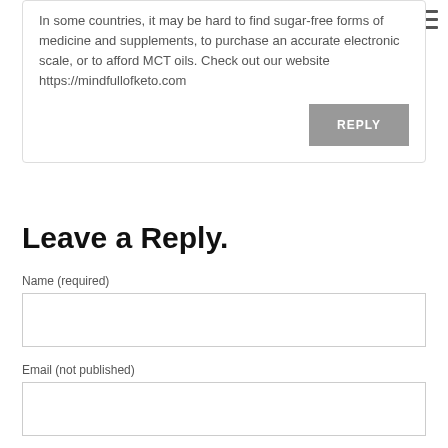In some countries, it may be hard to find sugar-free forms of medicine and supplements, to purchase an accurate electronic scale, or to afford MCT oils. Check out our website https://mindfullofketo.com
REPLY
Leave a Reply.
Name (required)
Email (not published)